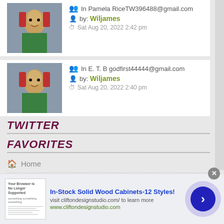In Pamela RiceTW396488@gmail.com by: Wiljames Sat Aug 20, 2022 2:42 pm
In E. T. B godfirst44444@gmail.com by: Wiljames Sat Aug 20, 2022 2:40 pm
TWITTER
FAVORITES
Home
Members
Delete all board cookies
ABOUT US
[Figure (screenshot): Advertisement for In-Stock Solid Wood Cabinets-12 Styles with screenshot thumbnail, arrow button, and close button. Text: In-Stock Solid Wood Cabinets-12 Styles! visit cliftondesignstudio.com/ to learn more www.cliftondesignstudio.com]